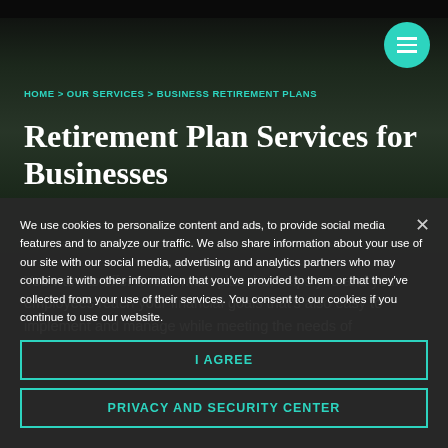HOME > OUR SERVICES > BUSINESS RETIREMENT PLANS
Retirement Plan Services for Businesses
You want to offer a retirement plan that helps you and your employees reach your financial goals that's also easy to implement and manage while meeting the needs of
We use cookies to personalize content and ads, to provide social media features and to analyze our traffic. We also share information about your use of our site with our social media, advertising and analytics partners who may combine it with other information that you've provided to them or that they've collected from your use of their services. You consent to our cookies if you continue to use our website.
I AGREE
PRIVACY AND SECURITY CENTER